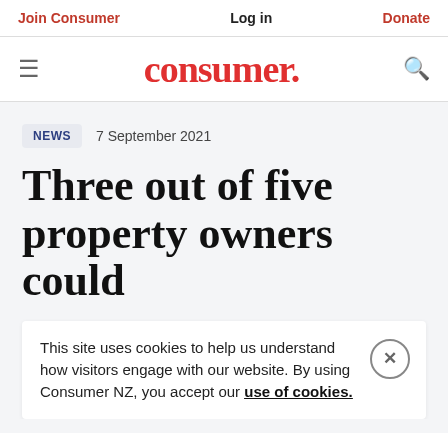Join Consumer   Log in   Donate
consumer.
NEWS   7 September 2021
Three out of five property owners could
This site uses cookies to help us understand how visitors engage with our website. By using Consumer NZ, you accept our use of cookies.